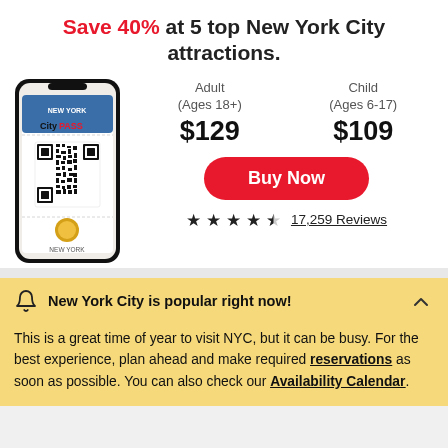Save 40% at 5 top New York City attractions.
[Figure (illustration): Smartphone displaying New York CityPASS mobile ticket with QR code]
Adult (Ages 18+)
$129
Child (Ages 6-17)
$109
Buy Now
★★★★☆ 17,259 Reviews
New York City is popular right now!
This is a great time of year to visit NYC, but it can be busy. For the best experience, plan ahead and make required reservations as soon as possible. You can also check our Availability Calendar.